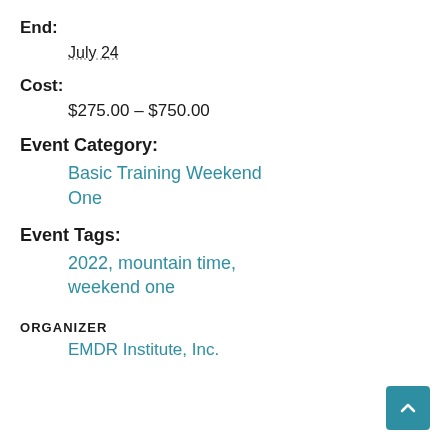End:
July 24
Cost:
$275.00 – $750.00
Event Category:
Basic Training Weekend One
Event Tags:
2022, mountain time, weekend one
ORGANIZER
EMDR Institute, Inc.